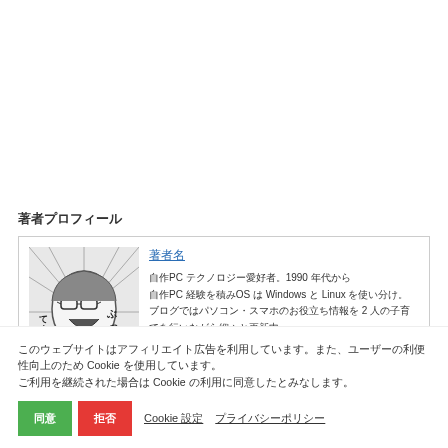著者プロフィール
[Figure (photo): Manga-style illustration of a man with glasses and open mouth, with Japanese text ぶち and てす!!!]
著者名
自作PC テクノロジー愛好者。1990 年代から
自作PC 経験を積みOS は Windows と Linux を使い分け。
ブログではパソコン・スマホのお役立ち情報を 2 人の子育てを行いながら細々と更新中。
このウェブサイトはアフィリエイト広告を利用しています。また、ユーザーの利便性向上のため Cookie を使用しています。
ご利用を継続された場合は Cookie の利用に同意したとみなします。
同意　拒否　Cookie 設定　プライバシーポリシー